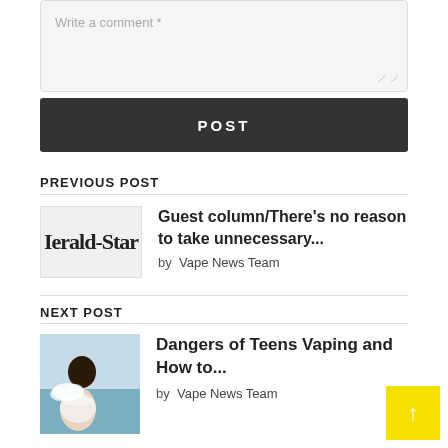[Figure (screenshot): Comment input box with placeholder text 'Write a comment *' and a resize handle]
POST
PREVIOUS POST
[Figure (logo): Herald-Star newspaper logo]
Guest column/There's no reason to take unnecessary...
by Vape News Team
NEXT POST
[Figure (photo): Photo of a teen vaping near water]
Dangers of Teens Vaping and How to...
by Vape News Team